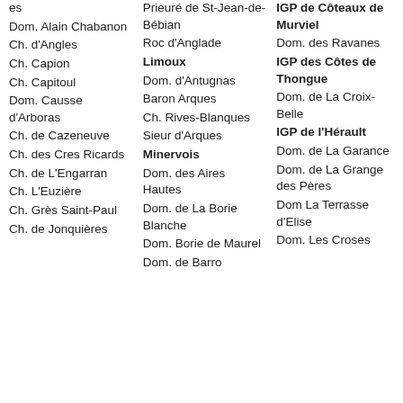es
Dom. Alain Chabanon
Ch. d'Angles
Ch. Capion
Ch. Capitoul
Dom. Causse d'Arboras
Ch. de Cazeneuve
Ch. des Cres Ricards
Ch. de L'Engarran
Ch. L'Euzière
Ch. Grès Saint-Paul
Ch. de Jonquières
Prieuré de St-Jean-de-Bébian
Roc d'Anglade
Limoux
Dom. d'Antugnas
Baron Arques
Ch. Rives-Blanques
Sieur d'Arques
Minervois
Dom. des Aires Hautes
Dom. de La Borie Blanche
Dom. Borie de Maurel
Dom. de Barro
IGP de Côteaux de Murviel
Dom. des Ravanes
IGP des Côtes de Thongue
Dom. de La Croix-Belle
IGP de l'Hérault
Dom. de La Garance
Dom. de La Grange des Pères
Dom La Terrasse d'Elise
Dom. Les Croses